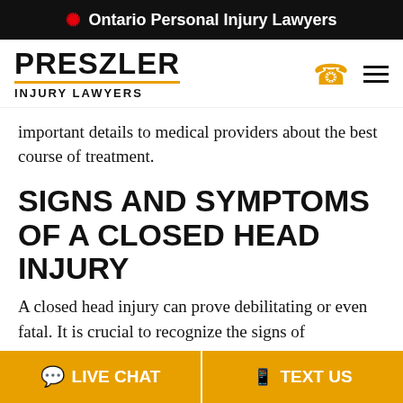🍁 Ontario Personal Injury Lawyers
[Figure (logo): Preszler Injury Lawyers logo with phone and menu icons]
important details to medical providers about the best course of treatment.
SIGNS AND SYMPTOMS OF A CLOSED HEAD INJURY
A closed head injury can prove debilitating or even fatal. It is crucial to recognize the signs of the closed hid injury so that you can get medical
LIVE CHAT | TEXT US